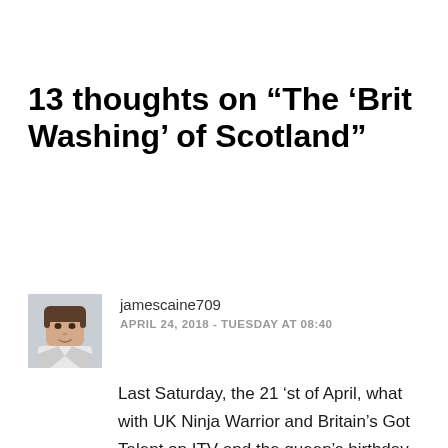13 thoughts on “The ‘Brit Washing’ of Scotland”
jamescaine709
APRIL 24, 2018 - TUESDAY AT 08:40
Last Saturday, the 21 ‘st of April, what with UK Ninja Warrior and Britain’s Got Talent on ITV and the queen’s birthday party on BBC 1. It was wall to wall Union